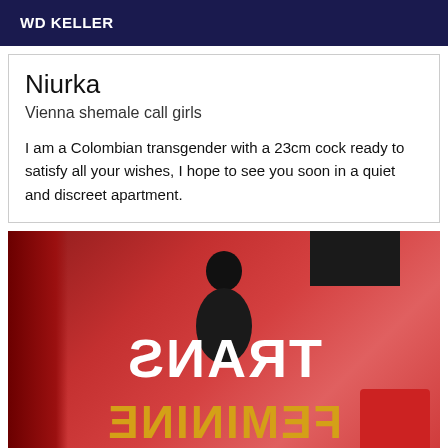WD KELLER
Niurka
Vienna shemale call girls
I am a Colombian transgender with a 23cm cock ready to satisfy all your wishes, I hope to see you soon in a quiet and discreet apartment.
[Figure (photo): A photo with a person silhouetted against a red-toned room with curtains, overlaid with mirrored text reading TRANS in white and FEMININE in gold/yellow]